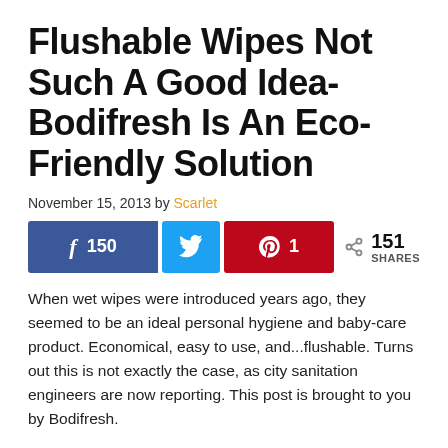Flushable Wipes Not Such A Good Idea- Bodifresh Is An Eco-Friendly Solution
November 15, 2013 by Scarlet
[Figure (infographic): Social share buttons: Facebook 150 shares, Twitter share button, Pinterest 1 share. Total: 151 SHARES]
When wet wipes were introduced years ago, they seemed to be an ideal personal hygiene and baby-care product. Economical, easy to use,  and...flushable. Turns out this is not exactly the case, as city sanitation engineers are now reporting. This post is brought to you by Bodifresh.